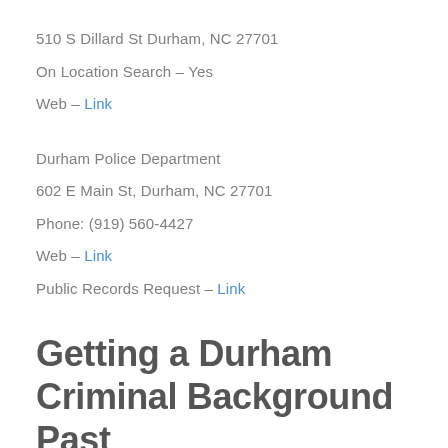510 S Dillard St Durham, NC 27701
On Location Search – Yes
Web – Link
Durham Police Department
602 E Main St, Durham, NC 27701
Phone: (919) 560-4427
Web – Link
Public Records Request – Link
Getting a Durham Criminal Background Past Report Check
Background checks could be a crucial difference in